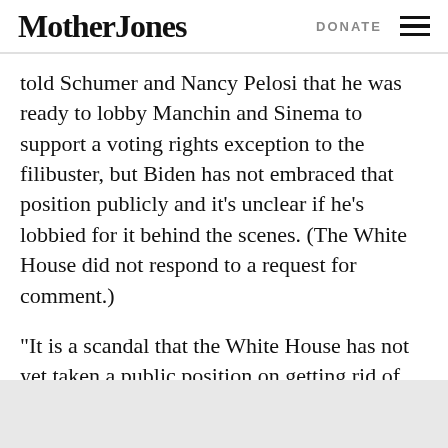Mother Jones | DONATE
told Schumer and Nancy Pelosi that he was ready to lobby Manchin and Sinema to support a voting rights exception to the filibuster, but Biden has not embraced that position publicly and it’s unclear if he’s lobbied for it behind the scenes. (The White House did not respond to a request for comment.)
“It is a scandal that the White House has not yet taken a public position on getting rid of the filibuster or otherwise reforming the filibuster,” Jones says.